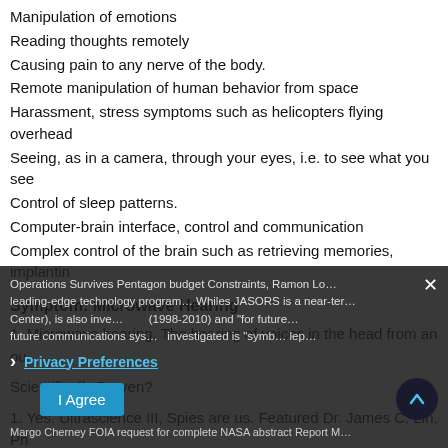Manipulation of emotions
Reading thoughts remotely
Causing pain to any nerve of the body.
Remote manipulation of human behavior from space
Harassment, stress symptoms such as helicopters flying overhead
Seeing, as in a camera, through your eyes, i.e. to see what you see
Control of sleep patterns.
Computer-brain interface, control and communication
Complex control of the brain such as retrieving memories, implantin…
Symptom: Microwave Hearing
1. Microwave hearing. The hearing of voices in the head from an ou…
Scientifically Proven?
1. Yes. Ultrascience III, Spies are us. Featured Dr. James C. Lin, Ph… microwave hearing, a symptom of many of the victims, hearing voic… Operations Survives Pentagon budget Constraints, Ramon Lo… leading-edge technology program… Whiles JASORS is a near-ter… Center), is also inve… (1998-2010) and "for future… future communications sys… investigated is "symb… lep…
Margo Cherney FOIA request for complete NASA abstract Report M…
Privacy Preferences
I Agree